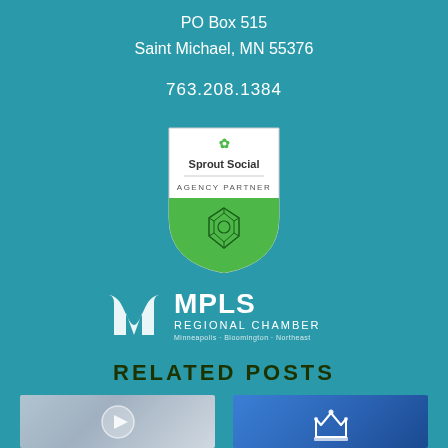PO Box 515
Saint Michael, MN 55376
763.208.1384
[Figure (logo): Sprout Social Agency Partner badge - shield shape with green lower half, geometric gem design, white upper half with Sprout Social logo and 'AGENCY PARTNER' text]
[Figure (logo): MPLS Regional Chamber logo - white M letterform icon followed by 'MPLS REGIONAL CHAMBER' text with 'Minneapolis · Bloomington · Northeast' tagline]
RELATED POSTS
[Figure (photo): Thumbnail image with play button overlay, blurred background with blue/grey tones]
[Figure (logo): Blue thumbnail with white crown/crest icon]